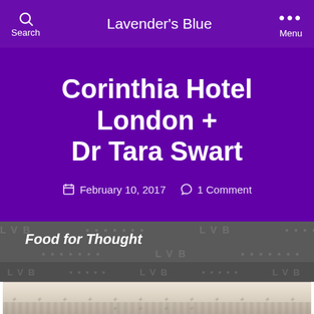Lavender's Blue
Corinthia Hotel London + Dr Tara Swart
February 10, 2017   1 Comment
Food for Thought
[Figure (photo): A decorative interior image, partially visible at the bottom of the page, showing an ornate cream/beige wall or ceiling detail with embossed pattern]